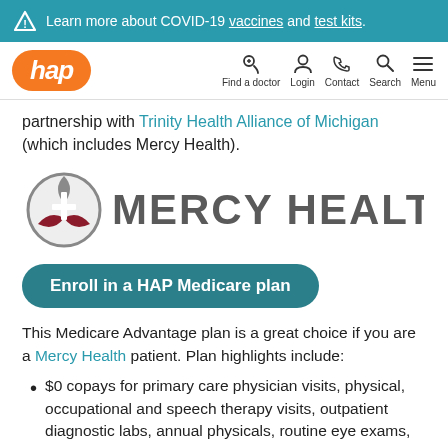Learn more about COVID-19 vaccines and test kits.
[Figure (logo): HAP (Health Alliance Plan) orange logo with navigation icons: Find a doctor, Login, Contact, Search, Menu]
partnership with Trinity Health Alliance of Michigan (which includes Mercy Health).
[Figure (logo): Mercy Health logo with cross/leaf symbol in grey and dark red, and MERCY HEALTH text in grey]
Enroll in a HAP Medicare plan
This Medicare Advantage plan is a great choice if you are a Mercy Health patient. Plan highlights include:
$0 copays for primary care physician visits, physical, occupational and speech therapy visits, outpatient diagnostic labs, annual physicals, routine eye exams,